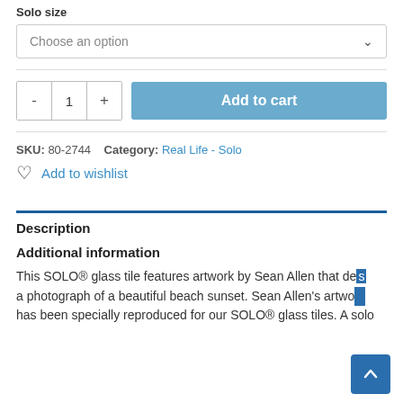Solo size
Choose an option
- 1 + Add to cart
SKU: 80-2744   Category: Real Life - Solo
Add to wishlist
Description
Additional information
This SOLO® glass tile features artwork by Sean Allen that depicts a photograph of a beautiful beach sunset. Sean Allen's artwork has been specially reproduced for our SOLO® glass tiles. A solo